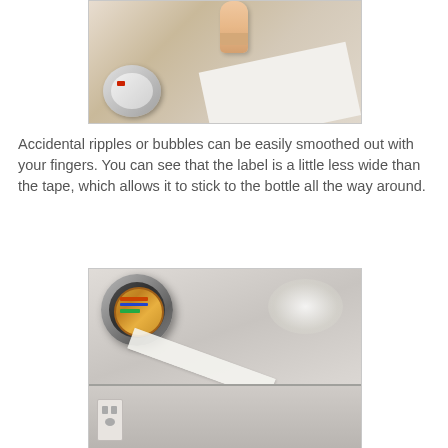[Figure (photo): A finger pressing down on a white label on a surface, with a circular object visible in the lower left, and a white paper/label extending to the right.]
Accidental ripples or bubbles can be easily smoothed out with your fingers. You can see that the label is a little less wide than the tape, which allows it to stick to the bottle all the way around.
[Figure (photo): A roll of tape on a table surface with a strip of clear tape being pulled out, and another object (possibly a bottle or container) visible in the background to the right.]